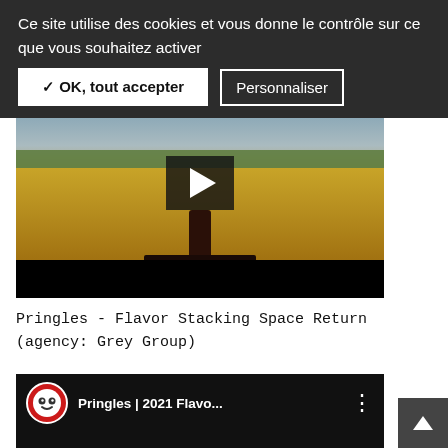Ce site utilise des cookies et vous donne le contrôle sur ce que vous souhaitez activer
✓ OK, tout accepter
Personnaliser
[Figure (screenshot): Video player showing a person playing a keyboard instrument in a field of wheat, with a large play button overlay and black progress bar area at the bottom.]
Pringles - Flavor Stacking Space Return (agency: Grey Group)
[Figure (screenshot): YouTube embedded video player showing Pringles channel logo (red circle with cartoon face wearing sunglasses), title 'Pringles | 2021 Flavo...' and three-dot menu icon, with video content below showing interior scene.]